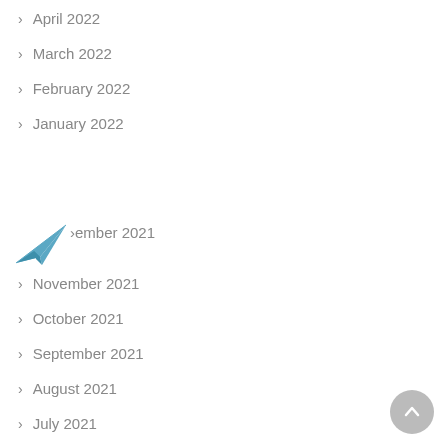> April 2022
> March 2022
> February 2022
> January 2022
> December 2021
> November 2021
> October 2021
> September 2021
> August 2021
> July 2021
> June 2021